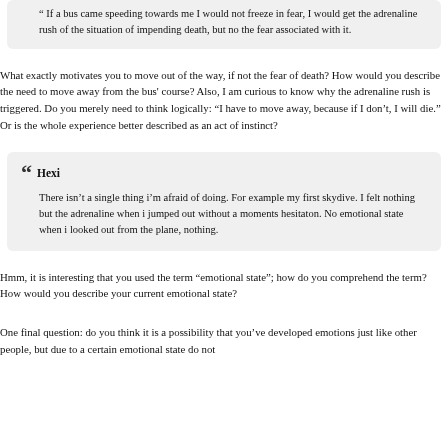" If a bus came speeding towards me I would not freeze in fear, I would get the adrenaline rush of the situation of impending death, but no the fear associated with it.
What exactly motivates you to move out of the way, if not the fear of death? How would you describe the need to move away from the bus' course? Also, I am curious to know why the adrenaline rush is triggered. Do you merely need to think logically: "I have to move away, because if I don't, I will die." Or is the whole experience better described as an act of instinct?
Hexi
There isn't a single thing i'm afraid of doing. For example my first skydive. I felt nothing but the adrenaline when i jumped out without a moments hesitaton. No emotional state when i looked out from the plane, nothing.
Hmm, it is interesting that you used the term "emotional state"; how do you comprehend the term? How would you describe your current emotional state?
One final question: do you think it is a possibility that you've developed emotions just like other people, but due to a certain emotional state do not